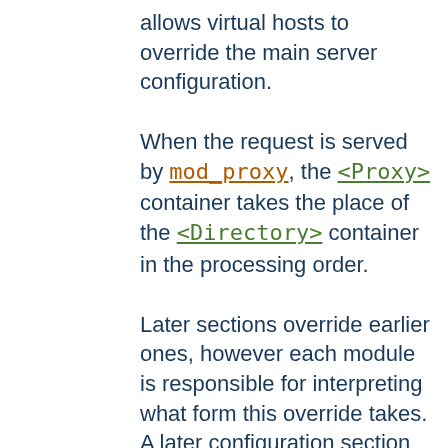allows virtual hosts to override the main server configuration.
When the request is served by mod_proxy, the <Proxy> container takes the place of the <Directory> container in the processing order.
Later sections override earlier ones, however each module is responsible for interpreting what form this override takes. A later configuration section with directives from a given module might cause a conceptual "merge" of some directives, all directives, or a complete replacement of the modules configuration